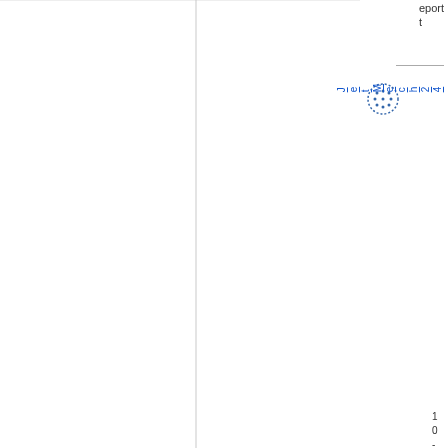eport
[Figure (logo): Dotted circular logo/icon in blue]
JetMech24
10-□□ 7 5 7 - 300. shaveta